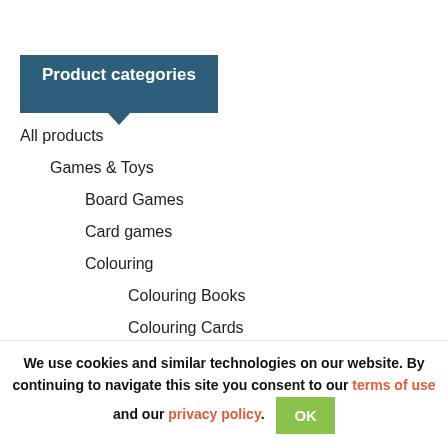Product categories
All products
Games & Toys
Board Games
Card games
Colouring
Colouring Books
Colouring Cards
Colouring Sheets
We use cookies and similar technologies on our website. By continuing to navigate this site you consent to our terms of use and our privacy policy.